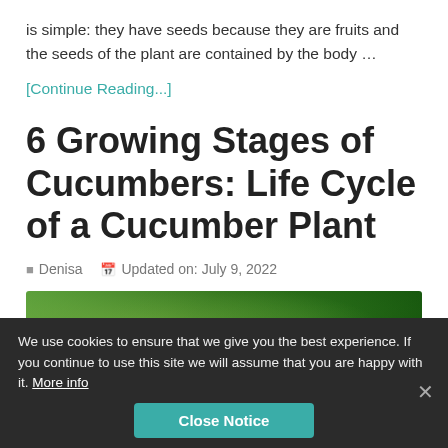is simple: they have seeds because they are fruits and the seeds of the plant are contained by the body …
[Continue Reading...]
6 Growing Stages of Cucumbers: Life Cycle of a Cucumber Plant
Denisa   Updated on: July 9, 2022
[Figure (photo): Close-up photo of a cucumber plant with green leaves and fruit]
We use cookies to ensure that we give you the best experience. If you continue to use this site we will assume that you are happy with it. More info
Close Notice